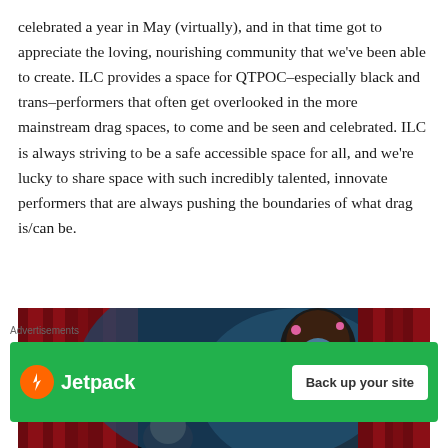celebrated a year in May (virtually), and in that time got to appreciate the loving, nourishing community that we've been able to create. ILC provides a space for QTPOC–especially black and trans–performers that often get overlooked in the more mainstream drag spaces, to come and be seen and celebrated. ILC is always striving to be a safe accessible space for all, and we're lucky to share space with such incredibly talented, innovate performers that are always pushing the boundaries of what drag is/can be.
[Figure (photo): A performer on stage in blue-purple stage lighting, smiling broadly, with red curtains visible in the background. The scene appears to be from a drag performance event.]
Advertisements
[Figure (screenshot): A Jetpack advertisement banner showing the Jetpack logo (orange circle with lightning bolt) and the text 'Back up your site' button on a green background.]